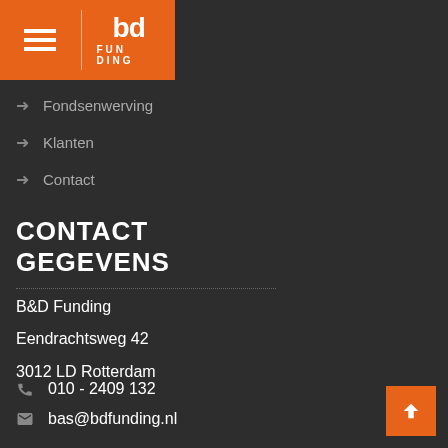[Figure (logo): B&D Funding logo with hamburger menu on orange header bar]
Fondsenwerving
Klanten
Contact
CONTACT GEGEVENS
B&D Funding
Eendrachtsweg 42
3012 LD Rotterdam
010 - 2409 132
bas@bdfunding.nl